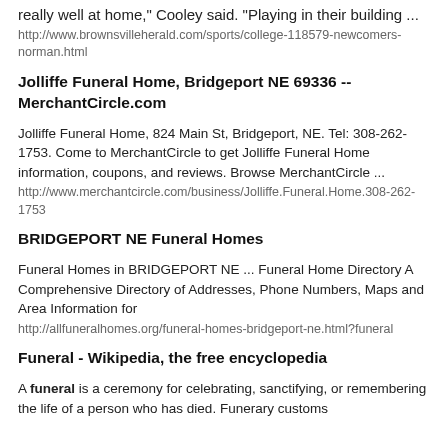will be held in Bridgeport, Denali. Children's home could ... "We play really well at home," Cooley said. "Playing in their building ...
http://www.brownsvilleherald.com/sports/college-118579-newcomers-norman.html
Jolliffe Funeral Home, Bridgeport NE 69336 -- MerchantCircle.com
Jolliffe Funeral Home, 824 Main St, Bridgeport, NE. Tel: 308-262-1753. Come to MerchantCircle to get Jolliffe Funeral Home information, coupons, and reviews. Browse MerchantCircle ...
http://www.merchantcircle.com/business/Jolliffe.Funeral.Home.308-262-1753
BRIDGEPORT NE Funeral Homes
Funeral Homes in BRIDGEPORT NE ... Funeral Home Directory A Comprehensive Directory of Addresses, Phone Numbers, Maps and Area Information for
http://allfuneralhomes.org/funeral-homes-bridgeport-ne.html?funeral
Funeral - Wikipedia, the free encyclopedia
A funeral is a ceremony for celebrating, sanctifying, or remembering the life of a person who has died. Funerary customs are practices the members of a belief...